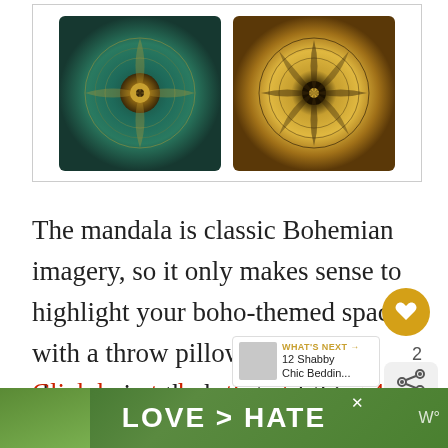[Figure (photo): Two decorative throw pillows with mandala designs: left pillow has teal/green mandala pattern with gold center; right pillow has gold/brown mandala pattern on dark background. Both displayed in a white-bordered product image box.]
The mandala is classic Bohemian imagery, so it only makes sense to highlight your boho-themed space with a throw pillow (or 4) showcasing the beauty of this timeless design. These floral mandala throw pillow covers range in shade, from cool purple to warm gold, so why not spread color around the room (or a couple of roo...
Click here to buy this stunning 4-piece set on
[Figure (screenshot): Advertisement banner at bottom reading LOVE > HATE with hands forming heart shape on green background]
[Figure (infographic): What's Next overlay showing 12 Shabby Chic Beddin... with thumbnail]
[Figure (infographic): Social like button (heart icon in gold circle) and share button with count of 2]